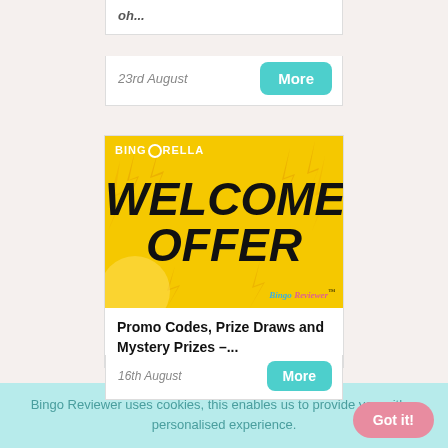oh...
23rd August
[Figure (illustration): Bingorella Welcome Offer banner with yellow background, lightning bolts, bold black text saying WELCOME OFFER, Bingorella logo top left, Bingo Reviewer logo bottom right]
Promo Codes, Prize Draws and Mystery Prizes –...
16th August
Bingo Reviewer uses cookies, this enables us to provide you with a personalised experience.